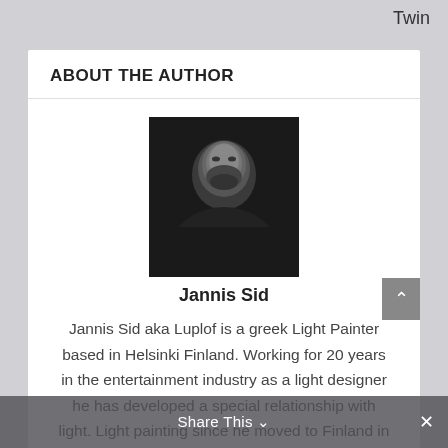Twin
ABOUT THE AUTHOR
[Figure (photo): Black and white portrait photo of a man with a beard, looking directly at the camera against a dark background.]
Jannis Sid
Jannis Sid aka Luplof is a greek Light Painter based in Helsinki Finland. Working for 20 years in the entertainment industry as a light designer he has developed a special relationship with light. Light painting since he moved to Finland in 2010, more actively since 2015. In 2017 he founded the LightPaintBox and started this blog.
Share This ∨  ×